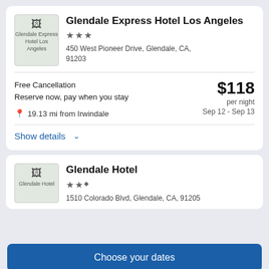Glendale Express Hotel Los Angeles
450 West Pioneer Drive, Glendale, CA, 91203
Free Cancellation
Reserve now, pay when you stay
$118 per night
Sep 12 - Sep 13
19.13 mi from Irwindale
Show details
Glendale Hotel
1510 Colorado Blvd, Glendale, CA, 91205
Choose your dates